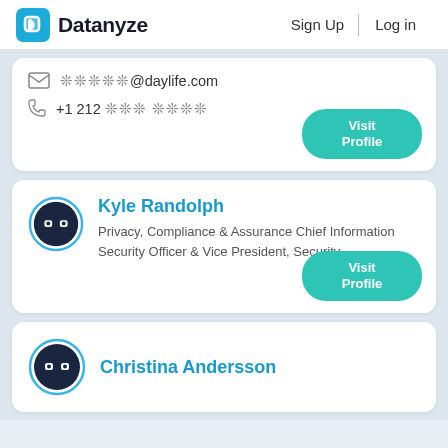Datanyze  Sign Up  Log in
✉ ❊❊❊❊❊@daylife.com
📞 +1 212 ❊❊❊ ❊❊❊❊
Visit Profile
Kyle Randolph
Privacy, Compliance & Assurance Chief Information Security Officer & Vice President, Security
Visit Profile
Christina Andersson